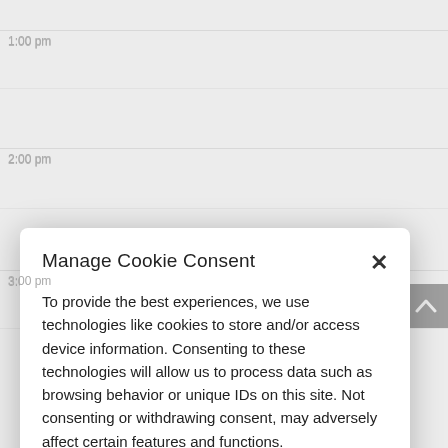1:00 pm
2:00 pm
3:00 pm
Manage Cookie Consent
To provide the best experiences, we use technologies like cookies to store and/or access device information. Consenting to these technologies will allow us to process data such as browsing behavior or unique IDs on this site. Not consenting or withdrawing consent, may adversely affect certain features and functions.
Accept
Cookie Policy   Privacy Statement